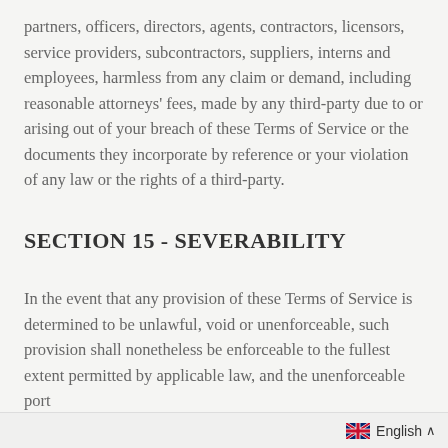partners, officers, directors, agents, contractors, licensors, service providers, subcontractors, suppliers, interns and employees, harmless from any claim or demand, including reasonable attorneys' fees, made by any third-party due to or arising out of your breach of these Terms of Service or the documents they incorporate by reference or your violation of any law or the rights of a third-party.
SECTION 15 - SEVERABILITY
In the event that any provision of these Terms of Service is determined to be unlawful, void or unenforceable, such provision shall nonetheless be enforceable to the fullest extent permitted by applicable law, and the unenforceable port
English